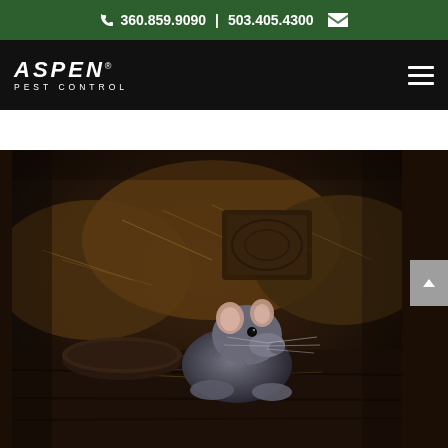📞 360.859.9090 | 503.405.4300 ✉
[Figure (logo): Aspen Pest Control logo with white italic text on dark background]
[Figure (photo): Close-up photograph of a dark rat sitting in straw/hay among old wooden objects in a dim barn-like environment]